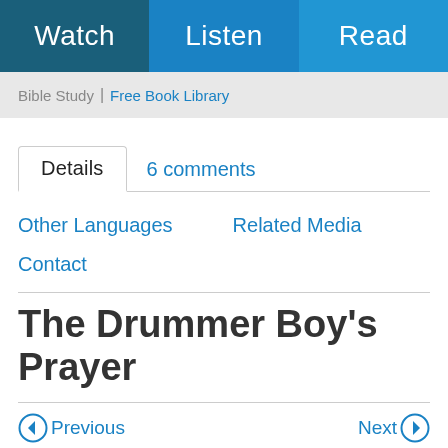Watch | Listen | Read
Bible Study | Free Book Library
Details   6 comments
Other Languages   Related Media
Contact
The Drummer Boy's Prayer
Previous   Next
Table of Contents